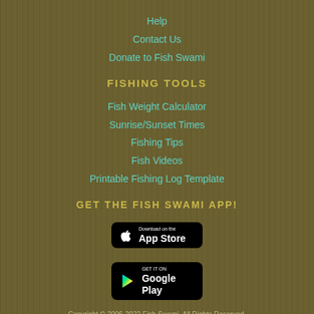Help
Contact Us
Donate to Fish Swami
FISHING TOOLS
Fish Weight Calculator
Sunrise/Sunset Times
Fishing Tips
Fish Videos
Printable Fishing Log Template
GET THE FISH SWAMI APP!
[Figure (logo): Download on the App Store badge]
[Figure (logo): Get it on Google Play badge]
Copyright © 2006-2022 Fish Swami. All Rights Reserved.